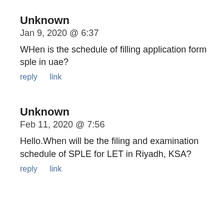Unknown
Jan 9, 2020 @ 6:37
WHen is the schedule of filling application form sple in uae?
reply   link
Unknown
Feb 11, 2020 @ 7:56
Hello.When will be the filing and examination schedule of SPLE for LET in Riyadh, KSA?
reply   link